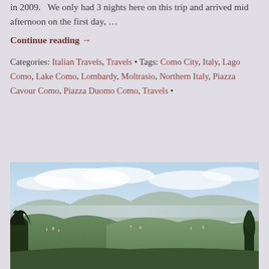in 2009.   We only had 3 nights here on this trip and arrived mid afternoon on the first day, …
Continue reading →
Categories: Italian Travels, Travels • Tags: Como City, Italy, Lago Como, Lake Como, Lombardy, Moltrasio, Northern Italy, Piazza Cavour Como, Piazza Duomo Como, Travels •
[Figure (photo): Panoramic view of hilly landscape near Lake Como, with trees in the foreground and mountains and a valley town in the background under a partly cloudy sky.]